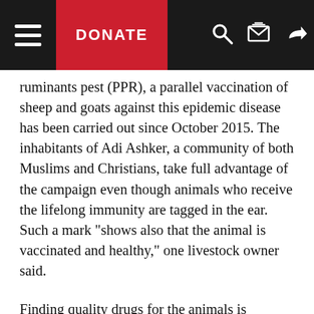DONATE
ruminants pest (PPR), a parallel vaccination of sheep and goats against this epidemic disease has been carried out since October 2015. The inhabitants of Adi Ashker, a community of both Muslims and Christians, take full advantage of the campaign even though animals who receive the lifelong immunity are tagged in the ear. Such a mark "shows also that the animal is vaccinated and healthy," one livestock owner said.
Finding quality drugs for the animals is difficult for residents, said Gebreigziabher, a village elder who came with his animals for treatment at a vaccination campaign in January. "What we can find in the local market is of poor quality and the nearest veterinary centre is very far, taking us eight hours round trip. So every year we wait for this campaign to come, because